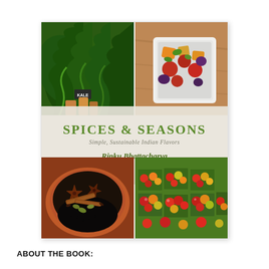[Figure (illustration): Book cover of 'Spices & Seasons: Simple, Sustainable Indian Flavors' by Rinku Bhattacharya, foreword by Suvir Saran. Cover features four food photos: kale greens (top left), a dish with colorful stewed vegetables/fruits in a white bowl (top right), a plate of whole spices including star anise, cinnamon sticks, and cardamom pods (bottom left), and cartons of colorful fresh tomatoes at a market (bottom right). The title is displayed on a linen-colored center band with green text.]
ABOUT THE BOOK: